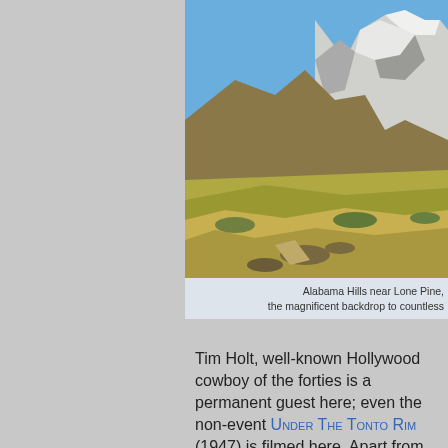[Figure (photo): Landscape photo of Alabama Hills near Lone Pine, showing golden desert scrubland in the foreground, rocky brown hills in the middle ground, and snow-capped Sierra Nevada mountains under a blue sky in the background.]
Alabama Hills near Lone Pine, the magnificent backdrop to countless…
Tim Holt, well-known Hollywood cowboy of the forties is a permanent guest here; even the non-event Under The Tonto Rim (1947) is filmed here. Apart from the near-invisible part as an extra in an earlier picture, Unconquered, this "horse opera" offers one young actor his first